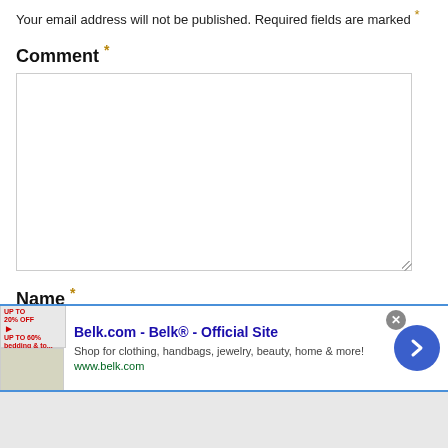Your email address will not be published. Required fields are marked *
Comment *
Name *
[Figure (screenshot): Advertisement banner for Belk.com - Belk® - Official Site. Shows product images on left, ad title, description 'Shop for clothing, handbags, jewelry, beauty, home & more!', URL www.belk.com, close button, and navigation arrow.]